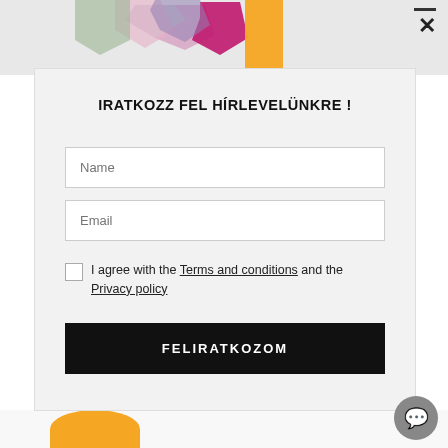[Figure (screenshot): Colorful geometric/abstract shapes in top background strip behind modal]
IRATKOZZ FEL HÍRLEVELÜNKRE !
Name
Email
I agree with the Terms and conditions and the Privacy policy
FELIRATKOZOM
[Figure (illustration): Orange rounded shape at bottom center, chat bubble icon bottom right]